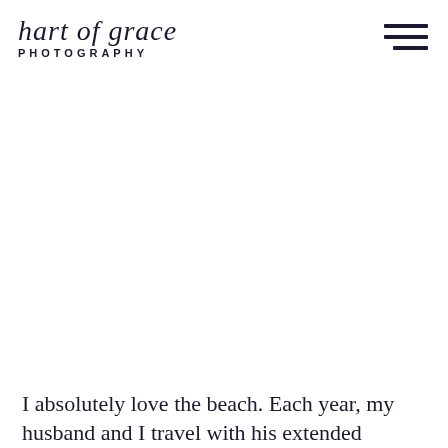hart of grace PHOTOGRAPHY
I absolutely love the beach. Each year, my husband and I travel with his extended